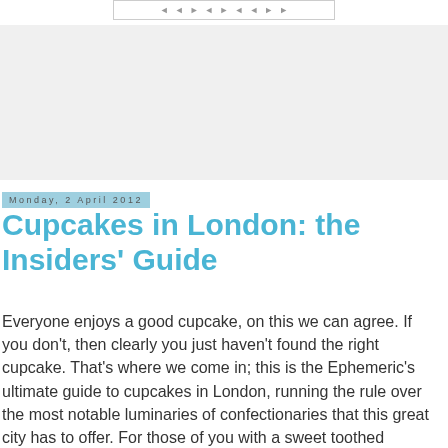[Figure (other): Navigation bar with arrow icons at the top of the page]
[Figure (other): Gray advertisement banner placeholder]
Monday, 2 April 2012
Cupcakes in London: the Insiders' Guide
Everyone enjoys a good cupcake, on this we can agree. If you don't, then clearly you just haven't found the right cupcake. That's where we come in; this is the Ephemeric's ultimate guide to cupcakes in London, running the rule over the most notable luminaries of confectionaries that this great city has to offer. For those of you with a sweet toothed